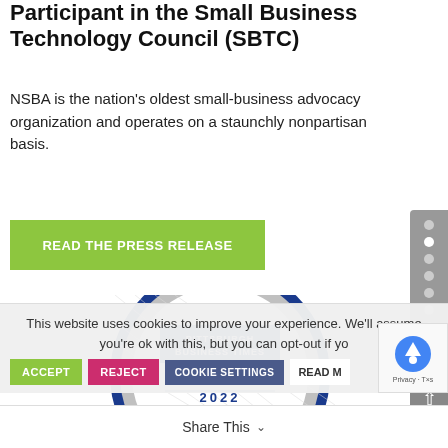Participant in the Small Business Technology Council (SBTC)
NSBA is the nation's oldest small-business advocacy organization and operates on a staunchly nonpartisan basis.
READ THE PRESS RELEASE
[Figure (logo): Pittsburgh Business Times - The List 2022 - Largest Pittsburgh-Area Life Sciences Firms badge/seal]
This website uses cookies to improve your experience. We'll assume you're ok with this, but you can opt-out if yo
ACCEPT   REJECT   COOKIE SETTINGS   READ M
Share This